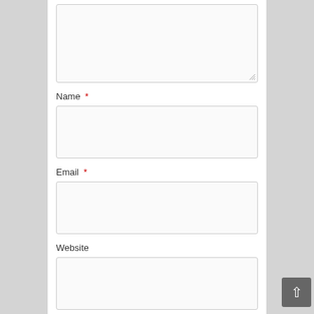[Figure (screenshot): A comment form textarea (empty, with resize handle) at the top of the page]
Name *
[Figure (screenshot): Name input field (empty text box)]
Email *
[Figure (screenshot): Email input field (empty text box)]
Website
[Figure (screenshot): Website input field (empty text box)]
[Figure (screenshot): Post Comment button]
This site uses Akismet to reduce spam. Learn how